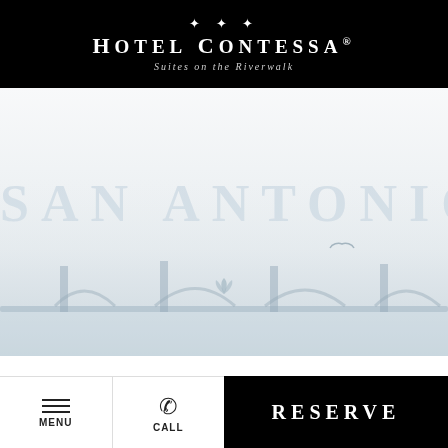[Figure (logo): Hotel Contessa logo with decorative wave motif above text, white on black background. Text reads HOTEL CONTESSA® with tagline Suites on the Riverwalk]
SAN ANTONIO
[Figure (photo): Faded background photo of San Antonio Riverwalk bridge and cityscape in light blue-grey tones]
MENU  CALL  RESERVE